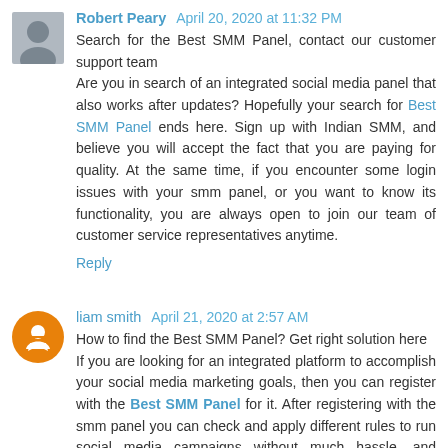Robert Peary April 20, 2020 at 11:32 PM
Search for the Best SMM Panel, contact our customer support team
Are you in search of an integrated social media panel that also works after updates? Hopefully your search for Best SMM Panel ends here. Sign up with Indian SMM, and believe you will accept the fact that you are paying for quality. At the same time, if you encounter some login issues with your smm panel, or you want to know its functionality, you are always open to join our team of customer service representatives anytime.
Reply
liam smith April 21, 2020 at 2:57 AM
How to find the Best SMM Panel? Get right solution here
If you are looking for an integrated platform to accomplish your social media marketing goals, then you can register with the Best SMM Panel for it. After registering with the smm panel you can check and apply different rules to run social media campaigns without much hassle, and assured